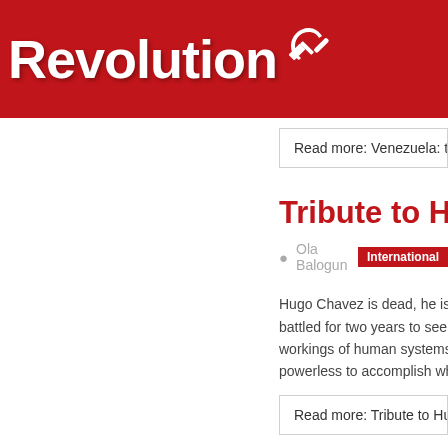Revolution
Read more: Venezuela: the
Tribute to Hugo C
Ola Balogun  International
Hugo Chavez is dead, he is n battled for two years to see if workings of human systems b powerless to accomplish wha
Read more: Tribute to Hugo
Historic 32nd con Day